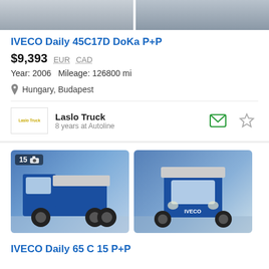[Figure (photo): Two partial vehicle images at top of page (cropped, showing front sections of trucks)]
IVECO Daily 45C17D DoKa P+P
$9,393  EUR  CAD
Year: 2006   Mileage: 126800 mi
Hungary, Budapest
Laslo Truck
8 years at Autoline
[Figure (photo): Two photos of a blue IVECO Daily 65 C 15 P+P truck — side view (left) and front view (right). Photo count badge shows 15.]
IVECO Daily 65 C 15 P+P